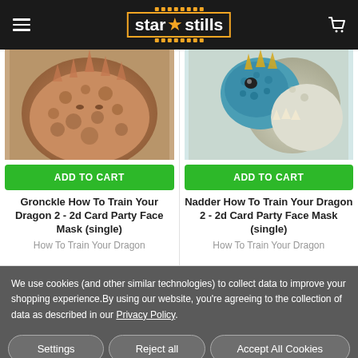star stills
[Figure (photo): Product image of Gronckle dragon face from How To Train Your Dragon 2 - brown textured dragon skin close-up]
[Figure (photo): Product image of Nadder dragon face from How To Train Your Dragon 2 - blue scaled dragon with teeth visible]
ADD TO CART
ADD TO CART
Gronckle How To Train Your Dragon 2 - 2d Card Party Face Mask (single)
Nadder How To Train Your Dragon 2 - 2d Card Party Face Mask (single)
How To Train Your Dragon
How To Train Your Dragon
We use cookies (and other similar technologies) to collect data to improve your shopping experience.By using our website, you're agreeing to the collection of data as described in our Privacy Policy.
Settings
Reject all
Accept All Cookies